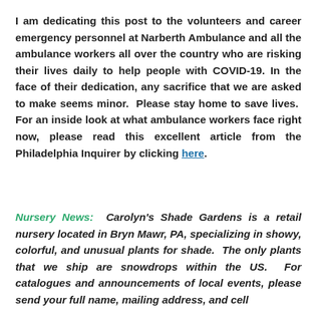I am dedicating this post to the volunteers and career emergency personnel at Narberth Ambulance and all the ambulance workers all over the country who are risking their lives daily to help people with COVID-19. In the face of their dedication, any sacrifice that we are asked to make seems minor. Please stay home to save lives. For an inside look at what ambulance workers face right now, please read this excellent article from the Philadelphia Inquirer by clicking here.
Nursery News: Carolyn's Shade Gardens is a retail nursery located in Bryn Mawr, PA, specializing in showy, colorful, and unusual plants for shade. The only plants that we ship are snowdrops within the US. For catalogues and announcements of local events, please send your full name, mailing address, and cell